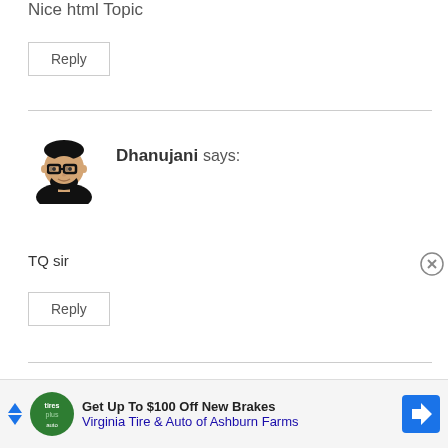Nice html Topic
Reply
Dhanujani says:
TQ sir
Reply
MANMOHAN says:
[Figure (other): Advertisement banner: Get Up To $100 Off New Brakes - Virginia Tire & Auto of Ashburn Farms]